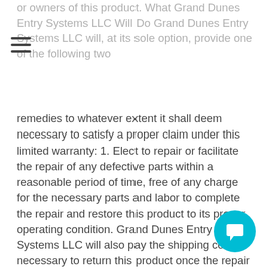or owners of this product. What Grand Dunes Entry Systems LLC Will Do Grand Dunes Entry Systems LLC will, at its sole option, provide one of the following two remedies to whatever extent it shall deem necessary to satisfy a proper claim under this limited warranty: 1. Elect to repair or facilitate the repair of any defective parts within a reasonable period of time, free of any charge for the necessary parts and labor to complete the repair and restore this product to its proper operating condition. Grand Dunes Entry Systems LLC will also pay the shipping costs necessary to return this product once the repair is complete. 2. Replace this product with a direct replacement or with a similar product deemed by Grand Dunes Entry Systems LLC to perform substantially the same function as the original product. What Grand Dunes Entry Systems LLC Will Not Do Under This Limited Warranty If this product is returned to Grand Dunes Entry Systems LLC or the authorized dealer from which it was purchased